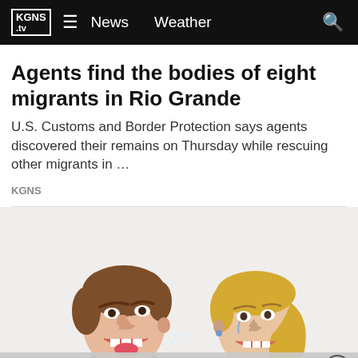KGNS .tv  ≡  News  Weather  🔍
Agents find the bodies of eight migrants in Rio Grande
U.S. Customs and Border Protection says agents discovered their remains on Thursday while rescuing other migrants in …
KGNS
[Figure (illustration): Cartoon illustration of a man yelling angrily at a woman, both shown from shoulders up. The man has brown hair and is pointing a finger, while the woman is blonde and appears to be reacting with distress.]